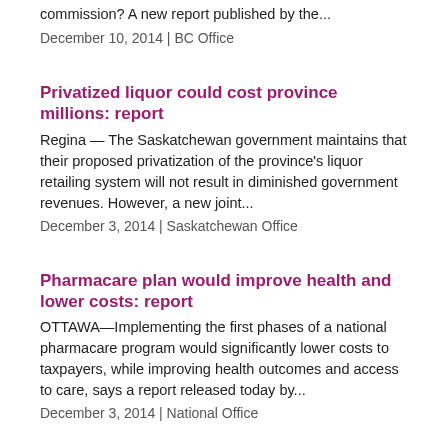commission? A new report published by the...
December 10, 2014 | BC Office
Privatized liquor could cost province millions: report
Regina — The Saskatchewan government maintains that their proposed privatization of the province's liquor retailing system will not result in diminished government revenues. However, a new joint...
December 3, 2014 | Saskatchewan Office
Pharmacare plan would improve health and lower costs: report
OTTAWA—Implementing the first phases of a national pharmacare program would significantly lower costs to taxpayers, while improving health outcomes and access to care, says a report released today by...
December 3, 2014 | National Office
Keep Newfoundland and Labrador's economy strong
St. John's – At a time when deficits are plaguing resource